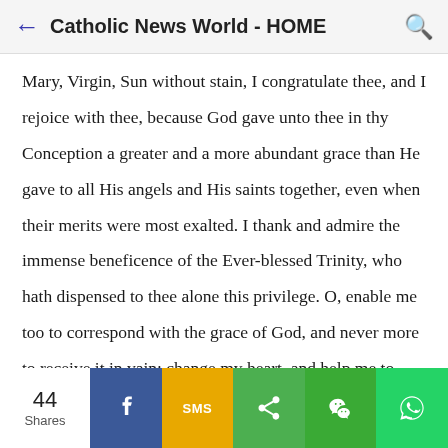Catholic News World - HOME
Mary, Virgin, Sun without stain, I congratulate thee, and I rejoice with thee, because God gave unto thee in thy Conception a greater and a more abundant grace than He gave to all His angels and His saints together, even when their merits were most exalted. I thank and admire the immense beneficence of the Ever-blessed Trinity, who hath dispensed to thee alone this privilege. O, enable me too to correspond with the grace of God, and never more to receive it in vain; change my heart, and help me to begin in earnest a new life. Litanies, &amp;c., as before.
44 Shares